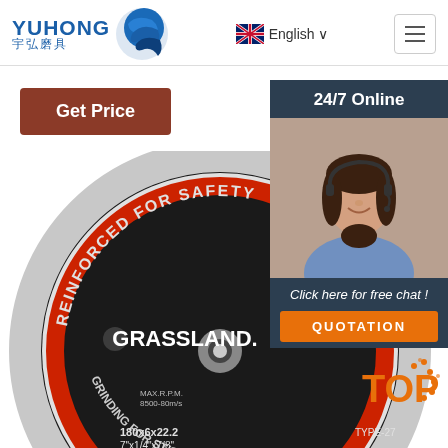[Figure (logo): YUHONG 宇弘磨具 logo with blue wave/globe icon]
English
[Figure (illustration): Hamburger menu icon (three horizontal lines)]
Get Price
24/7 Online
[Figure (photo): Customer service woman with headset smiling]
Click here for free chat !
QUOTATION
[Figure (photo): GRASSLAND brand grinding disc. Black disc labeled: REINFORCED FOR SAFETY, GRINDING FOR ST/STEEL, GRASSLAND, ISO 9001 A24R-BF, MAX.R.P.M. 8500-80m/s, 180x6x22.2, 7"x1/4"x7/8", TYPE-27]
[Figure (illustration): TOP badge with orange dots decoration]